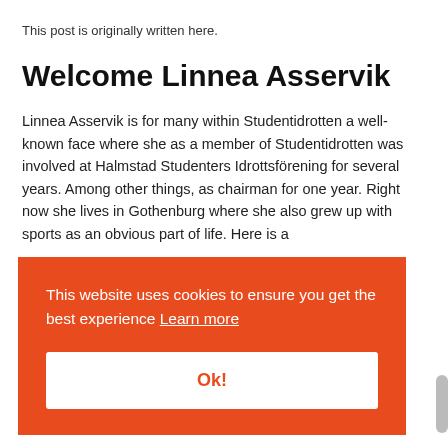This post is originally written here.
Welcome Linnea Asservik
Linnea Asservik is for many within Studentidrotten a well-known face where she as a member of Studentidrotten was involved at Halmstad Studenters Idrottsförening for several years. Among other things, as chairman for one year. Right now she lives in Gothenburg where she also grew up with sports as an obvious part of life. Here is a
[Figure (other): Cookie consent banner overlay in orange/red color with text 'This website uses cookies to ensure you get the best experience Learn more' and a white 'Ok!' button]
sayer who loves to have several things going on at